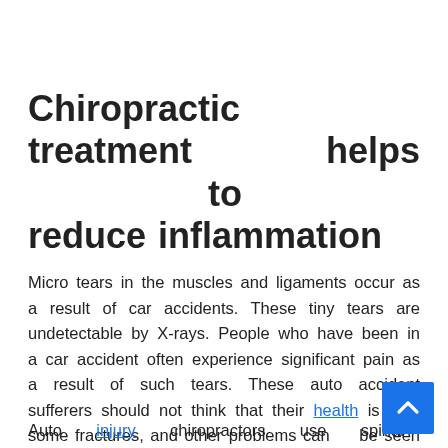Chiropractic treatment helps to reduce inflammation
Micro tears in the muscles and ligaments occur as a result of car accidents. These tiny tears are undetectable by X-rays. People who have been in a car accident often experience significant pain as a result of such tears. These auto accident sufferers should not think that their health is fine, some fractures, and other problems cannot be seen through X-rays.
Auto injury chiropractors use spinal